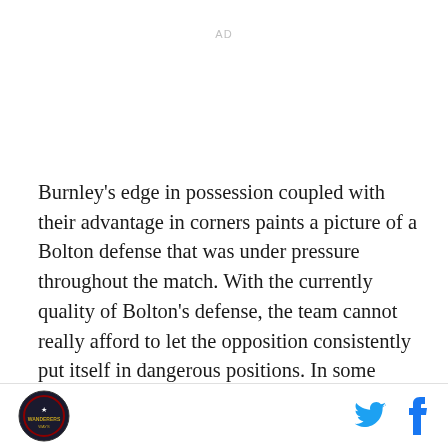AD
Burnley's edge in possession coupled with their advantage in corners paints a picture of a Bolton defense that was under pressure throughout the match. With the currently quality of Bolton's defense, the team cannot really afford to let the opposition consistently put itself in dangerous positions. In some ways it appears that Bolton were fortunate that Burnley